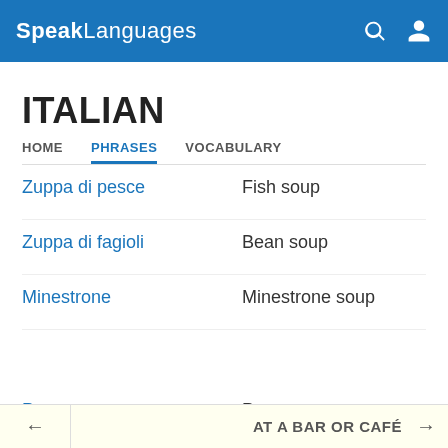SpeakLanguages
ITALIAN
HOME   PHRASES   VOCABULARY
Zuppa di pesce — Fish soup
Zuppa di fagioli — Bean soup
Minestrone — Minestrone soup
Pasta — Pasta
Spaghetti al ragù — Spaghetti bolognese
Spaghetti alla carbonara — Spaghetti with bacon and eggs
← AT A BAR OR CAFÉ →